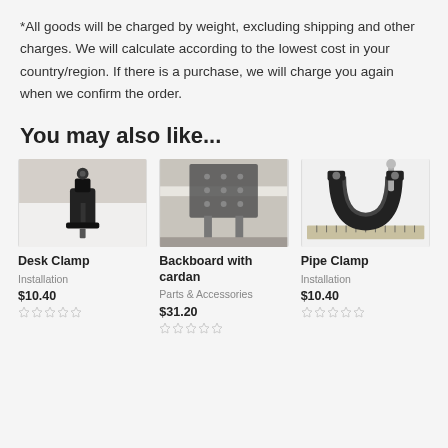*All goods will be charged by weight, excluding shipping and other charges. We will calculate according to the lowest cost in your country/region. If there is a purchase, we will charge you again when we confirm the order.
You may also like...
[Figure (photo): Photo of a desk clamp mount device, black, on a white desk surface]
Desk Clamp
Installation
$10.40
☆☆☆☆☆
[Figure (photo): Photo of a backboard with cardan joint, metal plate with holes, mounted under a white desk]
Backboard with cardan
Parts & Accessories
$31.20
☆☆☆☆☆
[Figure (photo): Photo of a pipe clamp, black rubber clamp with metal screw bolt, on a ruler]
Pipe Clamp
Installation
$10.40
☆☆☆☆☆